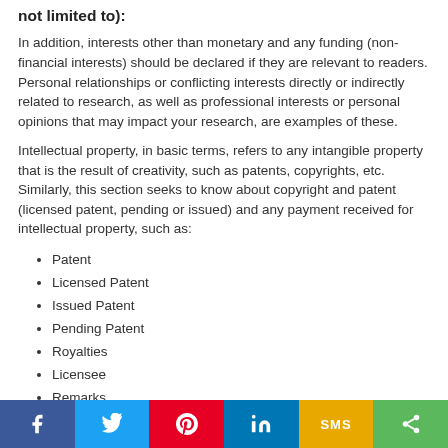not limited to):
In addition, interests other than monetary and any funding (non-financial interests) should be declared if they are relevant to readers. Personal relationships or conflicting interests directly or indirectly related to research, as well as professional interests or personal opinions that may impact your research, are examples of these.
Intellectual property, in basic terms, refers to any intangible property that is the result of creativity, such as patents, copyrights, etc. Similarly, this section seeks to know about copyright and patent (licensed patent, pending or issued) and any payment received for intellectual property, such as:
Patent
Licensed Patent
Issued Patent
Pending Patent
Royalties
Licensee
Remarks
DISCLOSURE STATEMENT
All conflict of interest disclosure forms are collected by